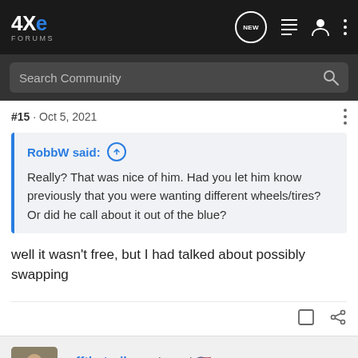4XE Forums
#15 · Oct 5, 2021
RobbW said: ↑ Really? That was nice of him. Had you let him know previously that you were wanting different wheels/tires? Or did he call about it out of the blue?
well it wasn't free, but I had talked about possibly swapping
offthetrail · Registered 🇺🇸 Joined Oct 17, 2021 · 46 Posts